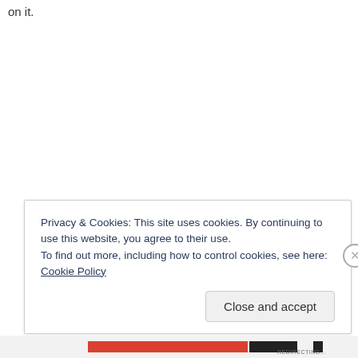on it.
Privacy & Cookies: This site uses cookies. By continuing to use this website, you agree to their use.
To find out more, including how to control cookies, see here: Cookie Policy
Close and accept